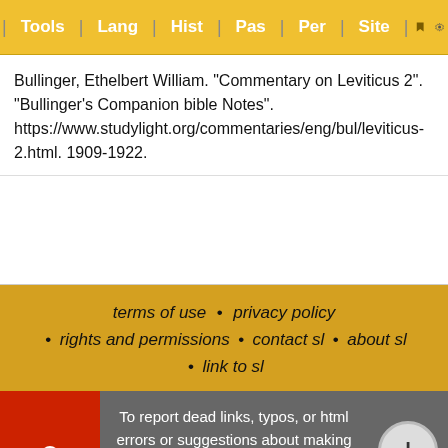Tools | Lang | Hist | Pas | Per | Site
Bullinger, Ethelbert William. "Commentary on Leviticus 2". "Bullinger's Companion bible Notes". https://www.studylight.org/commentaries/eng/bul/leviticus-2.html. 1909-1922.
terms of use • privacy policy • rights and permissions • contact sl • about sl • link to sl
To report dead links, typos, or html errors or suggestions about making these resources more useful use the convenient contact form
StudyLight © 2001-2022 Powered by LightSpeed Technology